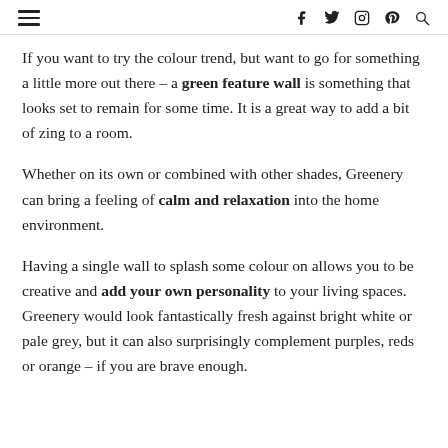≡  f  t  ◎  ⊕  🔍
If you want to try the colour trend, but want to go for something a little more out there – a green feature wall is something that looks set to remain for some time. It is a great way to add a bit of zing to a room.
Whether on its own or combined with other shades, Greenery can bring a feeling of calm and relaxation into the home environment.
Having a single wall to splash some colour on allows you to be creative and add your own personality to your living spaces. Greenery would look fantastically fresh against bright white or pale grey, but it can also surprisingly complement purples, reds or orange – if you are brave enough.